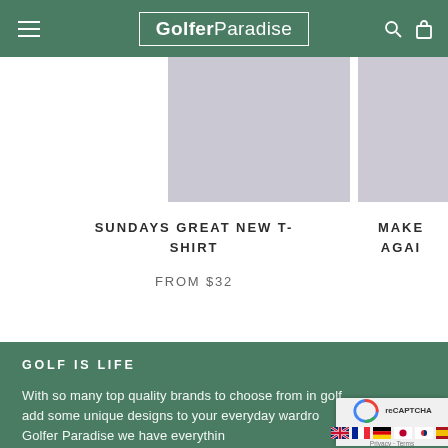GolferParadise
[Figure (photo): Product image of a light purple/grey t-shirt, center position]
[Figure (photo): Partial product image on the right side, cropped]
SUNDAYS GREAT NEW T-SHIRT
FROM $32
MAKE AGAIN (partial, cropped)
GOLF IS LIFE
With so many top quality brands to choose from in golf, add some unique designs to your everyday wardrobe. At Golfer Paradise we have everything the world that golf is life... On and off the course, let's